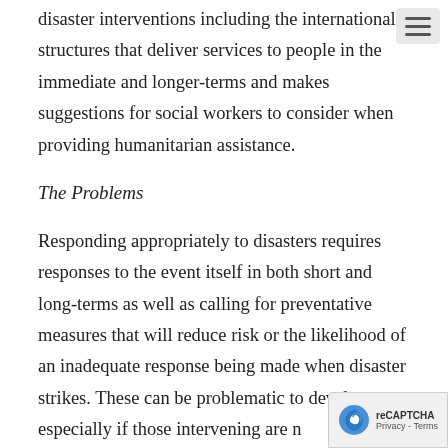disaster interventions including the international structures that deliver services to people in the immediate and longer-terms and makes suggestions for social workers to consider when providing humanitarian assistance.
The Problems
Responding appropriately to disasters requires responses to the event itself in both short and long-terms as well as calling for preventative measures that will reduce risk or the likelihood of an inadequate response being made when disaster strikes. These can be problematic to develop, especially if those intervening are n...